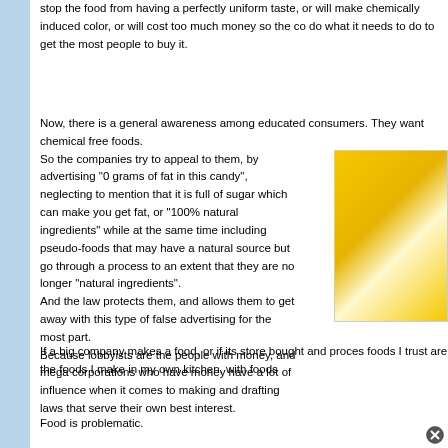stop the food from having a perfectly uniform taste, or will make chemically induced color, or will cost too much money so the co do what it needs to do to get the most people to buy it.
Now, there is a general awareness among educated consumers. They want chemical free foods.
So the companies try to appeal to them, by advertising "0 grams of fat in this candy", neglecting to mention that it is full of sugar which can make you get fat, or "100% natural ingredients" while at the same time including pseudo-foods that may have a natural source but go through a process to an extent that they are no longer "natural ingredients".
And the law protects them, and allows them to get away with this type of false advertising for the most part.
Because lobbyists are the people with money, and mega corporations who have money have a lot of influence when it comes to making and drafting laws that serve their own best interest.
[Figure (photo): Yellow background image, partially visible on the right side of the page]
If a big company makes a food, or if its store bought and process foods I trust are the foods I make in my own kitchen, with foods
Food is problematic.